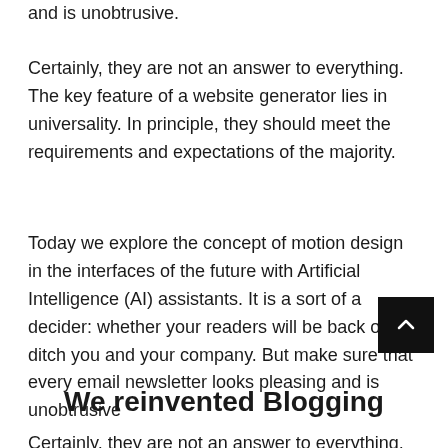and is unobtrusive.
Certainly, they are not an answer to everything. The key feature of a website generator lies in universality. In principle, they should meet the requirements and expectations of the majority.
Today we explore the concept of motion design in the interfaces of the future with Artificial Intelligence (AI) assistants. It is a sort of a decider: whether your readers will be back or ditch you and your company. But make sure that every email newsletter looks pleasing and is unobtrusive
We reinvented Blogging
Certainly, they are not an answer to everything. The key